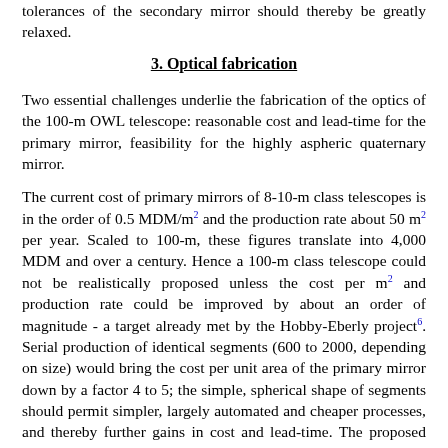tolerances of the secondary mirror should thereby be greatly relaxed.
3. Optical fabrication
Two essential challenges underlie the fabrication of the optics of the 100-m OWL telescope: reasonable cost and lead-time for the primary mirror, feasibility for the highly aspheric quaternary mirror.
The current cost of primary mirrors of 8-10-m class telescopes is in the order of 0.5 MDM/m² and the production rate about 50 m² per year. Scaled to 100-m, these figures translate into 4,000 MDM and over a century. Hence a 100-m class telescope could not be realistically proposed unless the cost per m² and production rate could be improved by about an order of magnitude - a target already met by the Hobby-Eberly project⁶. Serial production of identical segments (600 to 2000, depending on size) would bring the cost per unit area of the primary mirror down by a factor 4 to 5; the simple, spherical shape of segments should permit simpler, largely automated and cheaper processes, and thereby further gains in cost and lead-time. The proposed fabrication concepts aim at a lead-time in the range of 10-15 years for the optics, at a cost in the order of 500 Million DM - a figure which could certainly be substantially reduced, in view of the very conservative